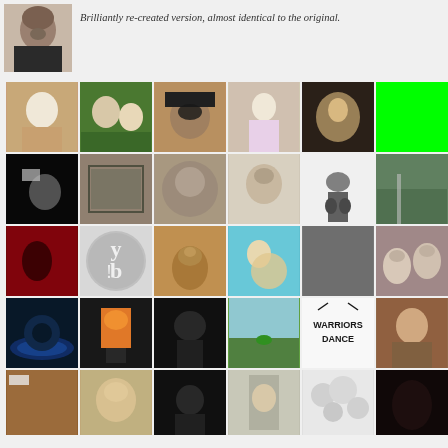[Figure (photo): Avatar photo of a bald man with beard at top left]
Brilliantly re-created version, almost identical to the original.
[Figure (photo): Grid of profile/avatar photos arranged in 5 rows of 6 columns showing various people, logos, illustrations, and images]